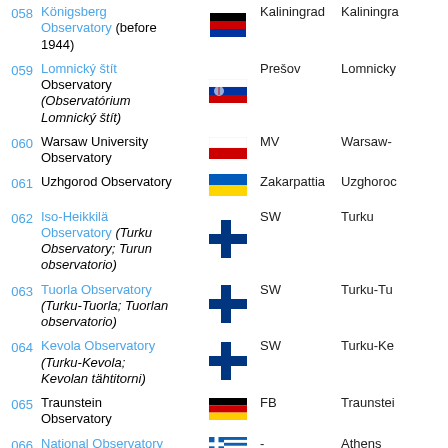| # | Name | Flag | Region | City |
| --- | --- | --- | --- | --- |
| 058 | Königsberg Observatory (before 1944) | Russia | Kaliningrad | Kaliningrad |
| 059 | Lomnický štít Observatory (Observatórium Lomnický štít) | Slovakia | Prešov | Lomnicky |
| 060 | Warsaw University Observatory | Poland | MV | Warsaw |
| 061 | Uzhgorod Observatory | Ukraine | Zakarpattia | Uzhgorod |
| 062 | Iso-Heikkilä Observatory (Turku Observatory; Turun observatorio) | Finland | SW | Turku |
| 063 | Tuorla Observatory (Turku-Tuorla; Tuorlan observatorio) | Finland | SW | Turku-Tu |
| 064 | Kevola Observatory (Turku-Kevola; Kevolan tähtitorni) | Finland | SW | Turku-Ke |
| 065 | Traunstein Observatory | Germany | FB | Traunstein |
| 066 | National Observatory of Athens | Greece | - | Athens |